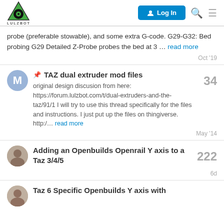LULZBOT | Log In
probe (preferable stowable), and some extra G-code. G29-G32: Bed probing G29 Detailed Z-Probe probes the bed at 3 … read more
Oct '19
📌 TAZ dual extruder mod files
original design discusion from here: https://forum.lulzbot.com/t/dual-extruders-and-the-taz/91/1 I will try to use this thread specifically for the files and instructions. I just put up the files on thingiverse. http:/… read more
May '14
Adding an Openbuilds Openrail Y axis to a Taz 3/4/5
222
6d
Taz 6 Specific Openbuilds Y axis with